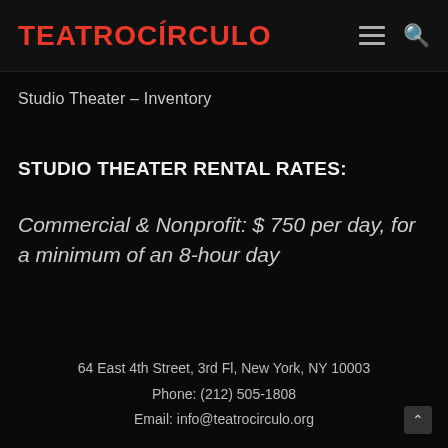TEATROCÍRCULO
Studio Theater – Inventory
STUDIO THEATER RENTAL RATES:
Commercial & Nonprofit: $ 750 per day, for a minimum of an 8-hour day
64 East 4th Street, 3rd Fl, New York, NY 10003
Phone: (212) 505-1808
Email: info@teatrocirculo.org